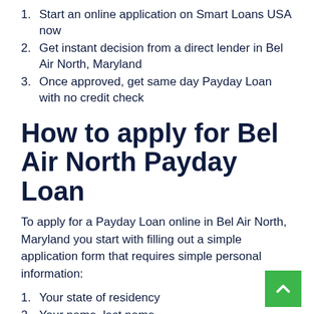1. Start an online application on Smart Loans USA now
2. Get instant decision from a direct lender in Bel Air North, Maryland
3. Once approved, get same day Payday Loan with no credit check
How to apply for Bel Air North Payday Loan
To apply for a Payday Loan online in Bel Air North, Maryland you start with filling out a simple application form that requires simple personal information:
1. Your state of residency
2. Your name, last name,
3. E-mail address for verification and telephone number for contact